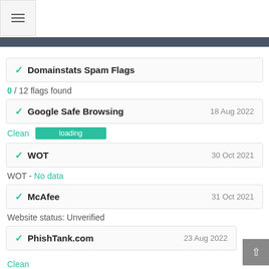[Figure (screenshot): Hamburger menu icon button in top-left corner]
Domainstats Spam Flags
0 / 12 flags found
Google Safe Browsing  18 Aug 2022
Clean  loading
WOT  30 Oct 2021
WOT - No data
McAfee  31 Oct 2021
Website status: Unverified
PhishTank.com  23 Aug 2022
Clean